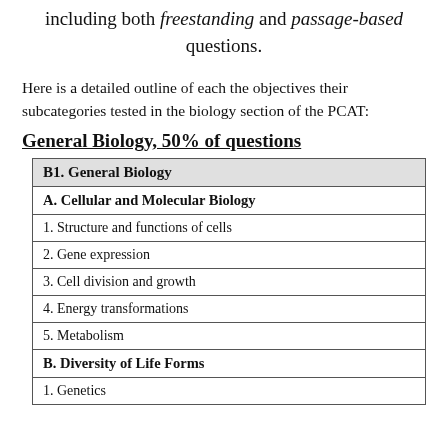including both freestanding and passage-based questions.
Here is a detailed outline of each the objectives their subcategories tested in the biology section of the PCAT:
General Biology, 50% of questions
| B1. General Biology |
| --- |
| A. Cellular and Molecular Biology |
| 1. Structure and functions of cells |
| 2. Gene expression |
| 3. Cell division and growth |
| 4. Energy transformations |
| 5. Metabolism |
| B. Diversity of Life Forms |
| 1. Genetics |